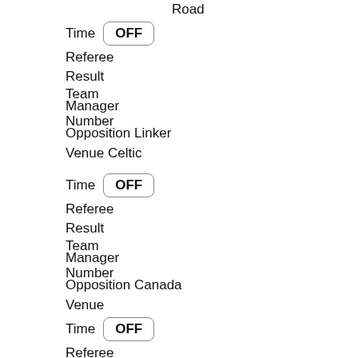Road
Time  OFF
Referee
Result
Team / Manager
Number / Opposition / Linker
Venue Celtic
Time  OFF
Referee
Result
Team / Manager
Number / Opposition Canada
Venue
Time  OFF
Referee
Result
Team / Manager
Number / Opposition Kingston